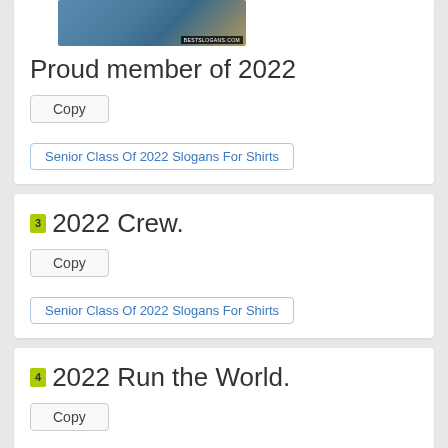[Figure (photo): Cropped photo of students, with BESTSLOGANS.COM watermark in bottom right]
Proud member of 2022
Copy
Senior Class Of 2022 Slogans For Shirts
3  2022 Crew.
Copy
Senior Class Of 2022 Slogans For Shirts
4  2022 Run the World.
Copy